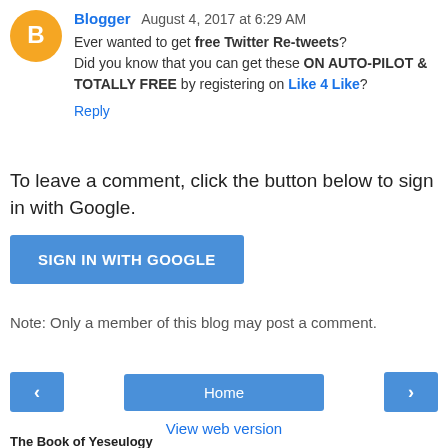Blogger  August 4, 2017 at 6:29 AM
Ever wanted to get free Twitter Re-tweets?
Did you know that you can get these ON AUTO-PILOT & TOTALLY FREE by registering on Like 4 Like?
Reply
To leave a comment, click the button below to sign in with Google.
[Figure (other): Blue button labeled SIGN IN WITH GOOGLE]
Note: Only a member of this blog may post a comment.
[Figure (other): Navigation bar with back arrow, Home button, and forward arrow]
View web version
The Book of Yeseulogy